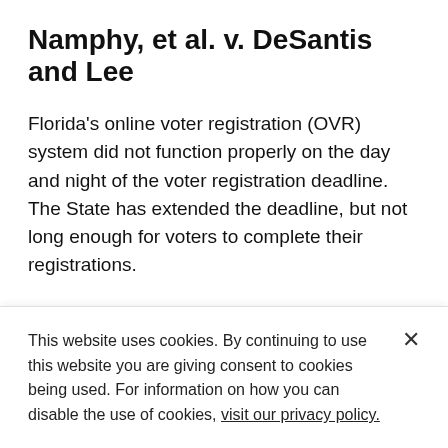Namphy, et al. v. DeSantis and Lee
Florida's online voter registration (OVR) system did not function properly on the day and night of the voter registration deadline. The State has extended the deadline, but not long enough for voters to complete their registrations.
CASE — Updated JANUARY 27, 2021
How and Why the Federal Agencies
This website uses cookies. By continuing to use this website you are giving consent to cookies being used. For information on how you can disable the use of cookies, visit our privacy policy.